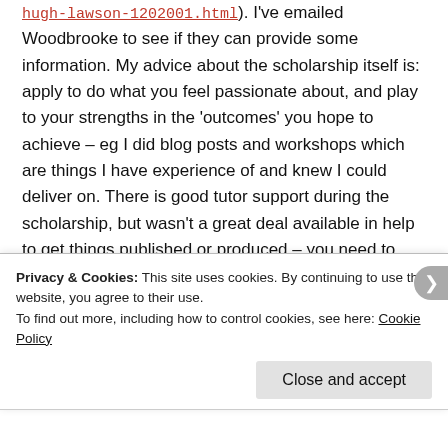hugh-lawson-1202001.html). I've emailed Woodbrooke to see if they can provide some information. My advice about the scholarship itself is: apply to do what you feel passionate about, and play to your strengths in the 'outcomes' you hope to achieve – eg I did blog posts and workshops which are things I have experience of and knew I could deliver on. There is good tutor support during the scholarship, but wasn't a great deal available in help to get things published or produced – you need to think what is achievable for you. Subject wise – I've no idea how they discern the right ones to pick when they
Privacy & Cookies: This site uses cookies. By continuing to use this website, you agree to their use.
To find out more, including how to control cookies, see here: Cookie Policy
Close and accept